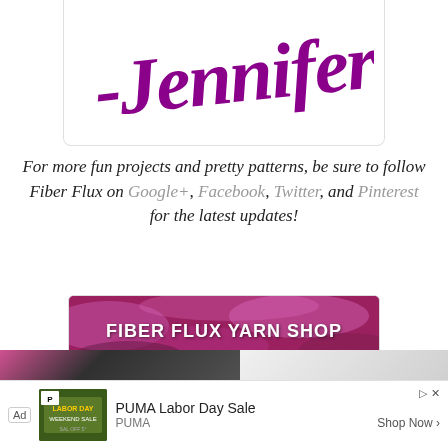[Figure (logo): Cursive script signature reading '-Jennifer' in purple/magenta color on white background with light border]
For more fun projects and pretty patterns, be sure to follow Fiber Flux on Google+, Facebook, Twitter, and Pinterest for the latest updates!
[Figure (photo): Fiber Flux Yarn Shop banner with colorful yarn background and bold white text reading FIBER FLUX YARN SHOP]
Visit the Fiber Flux Yarn Shop...lovely yarn & great prices!
[Figure (screenshot): PUMA Labor Day Sale advertisement banner at bottom of page showing ad label, PUMA imagery, ad title, and Shop Now button]